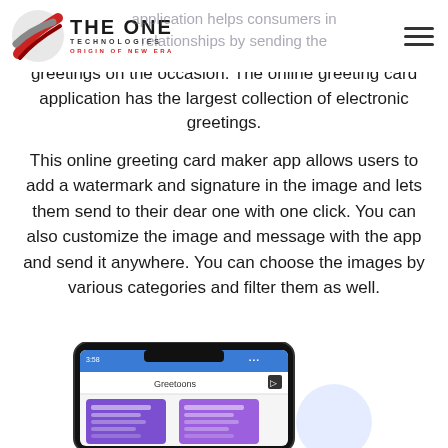The One Technologies — Origin of New Era
greetings on the occasion. The online greeting card application has the largest collection of electronic greetings.
This online greeting card maker app allows users to add a watermark and signature in the image and lets them send to their dear one with one click. You can also customize the image and message with the app and send it anywhere. You can choose the images by various categories and filter them as well.
[Figure (screenshot): Mobile phone screenshot showing the Greetoons app interface with purple greeting card thumbnails on a blue/white background, time 3:58 shown in status bar.]